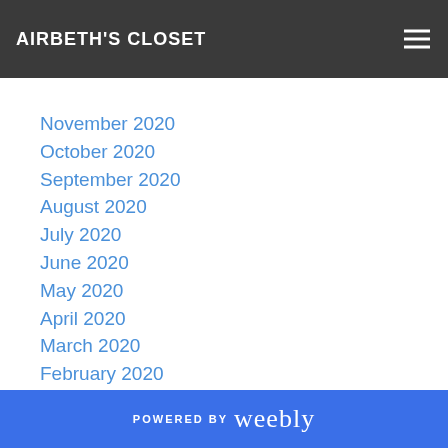AIRBETH'S CLOSET
Archives
November 2020
October 2020
September 2020
August 2020
July 2020
June 2020
May 2020
April 2020
March 2020
February 2020
January 2020
December 2019
November 2019
October 2019
POWERED BY weebly